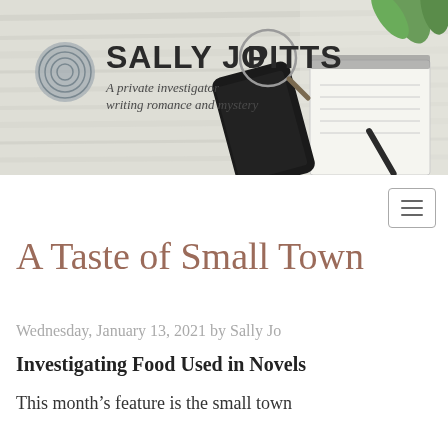[Figure (illustration): Sally Jo Pitts website header banner with wood plank background, fingerprint logo, magnifying glass over letters PI in PITTS, smartphone, notepad, pen, and green leaves. Text reads: SALLY JO PITTS – A private investigator writing romance and mystery]
[Figure (other): Hamburger menu button icon (three horizontal lines) in a rounded rectangle border]
A Taste of Small Town
Wednesday, January 13, 2021 by Sally Jo
Investigating Food Used in Novels
This month's feature is the small town